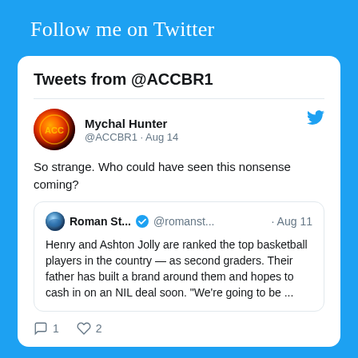Follow me on Twitter
Tweets from @ACCBR1
Mychal Hunter
@ACCBR1 · Aug 14
So strange. Who could have seen this nonsense coming?
Roman St... @romanst... · Aug 11
Henry and Ashton Jolly are ranked the top basketball players in the country — as second graders. Their father has built a brand around them and hopes to cash in on an NIL deal soon. "We're going to be ...
1  2